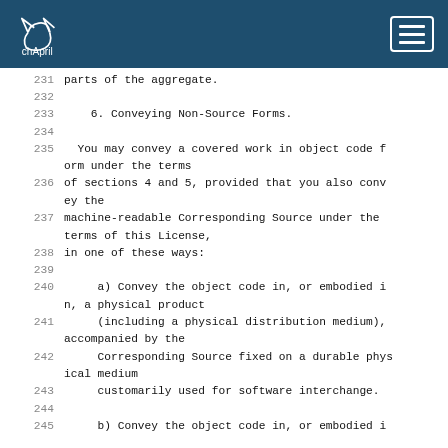chApril [logo] [menu]
231    parts of the aggregate.
232
233        6. Conveying Non-Source Forms.
234
235      You may convey a covered work in object code form under the terms
236    of sections 4 and 5, provided that you also convey the
237    machine-readable Corresponding Source under the terms of this License,
238    in one of these ways:
239
240         a) Convey the object code in, or embodied in, a physical product
241         (including a physical distribution medium), accompanied by the
242         Corresponding Source fixed on a durable physical medium
243         customarily used for software interchange.
244
245      b) Convey the object code in, or embodied i